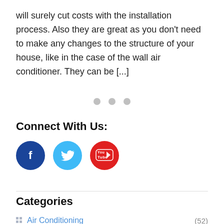will surely cut costs with the installation process. Also they are great as you don't need to make any changes to the structure of your house, like in the case of the wall air conditioner. They can be [...]
[Figure (other): Three grey dots indicating pagination or loading]
Connect With Us:
[Figure (infographic): Three social media icons: Facebook (dark blue circle with f), Twitter (light blue circle with bird), YouTube (red circle with play button)]
Categories
Air Conditioning (52)
Announcements (91)